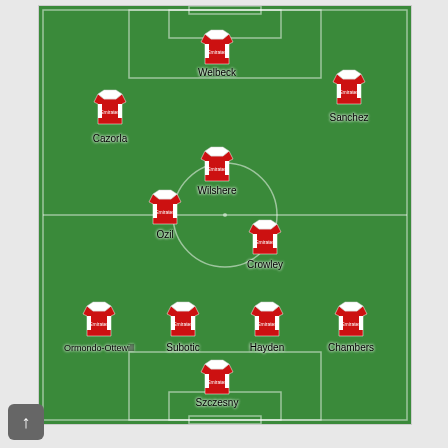[Figure (infographic): Arsenal FC football formation diagram on a green pitch. Players shown with red Arsenal jerseys and names: Cazorla (left wing), Welbeck (center forward), Sanchez (right wing), Wilshere (attacking mid), Ozil (central mid left), Crowley (central mid right), Ormondo-Ottewill (left back), Subotic (center-left back), Hayden (center-right back), Chambers (right back), Szczesny (goalkeeper)]